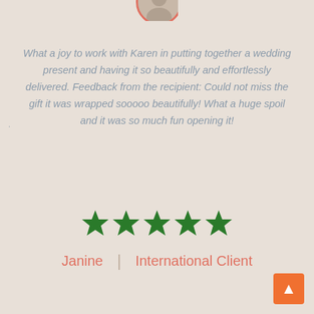[Figure (photo): Partial view of a circular profile photo with a salmon/coral colored border, cropped at top of page]
What a joy to work with Karen in putting together a wedding present and having it so beautifully and effortlessly delivered. Feedback from the recipient: Could not miss the gift it was wrapped sooooo beautifully! What a huge spoil and it was so much fun opening it!
[Figure (other): Five green star rating icons]
Janine | International Client